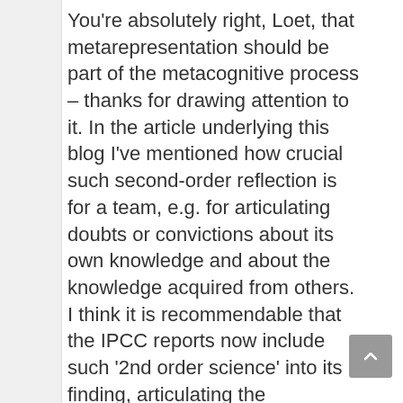You're absolutely right, Loet, that metarepresentation should be part of the metacognitive process – thanks for drawing attention to it. In the article underlying this blog I've mentioned how crucial such second-order reflection is for a team, e.g. for articulating doubts or convictions about its own knowledge and about the knowledge acquired from others. I think it is recommendable that the IPCC reports now include such '2nd order science' into its finding, articulating the uncertainties inherent in its models, for example (cf. my p. 148, with reference to Sperber's 'epidemiology of representations. I'll